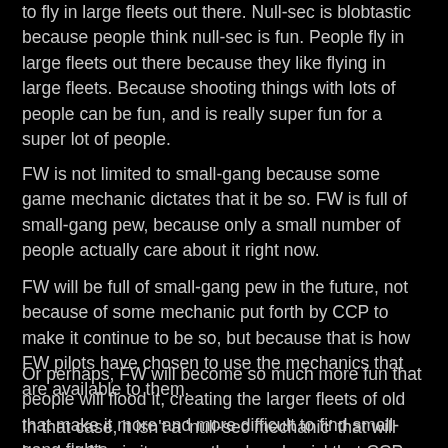to fly in large fleets out there. Null-sec is blobtastic because people think null-sec is fun. People fly in large fleets out there because they like flying in large fleets. Because shooting things with lots of people can be fun, and is really super fun for a super lot of people.
FW is not limited to small-gang because some game mechanic dictates that it be so. FW is full of small-gang pew, because only a small number of people actually care about it right now.
FW will be full of small-gang pew in the future, not because of some mechanic put forth by CCP to make it continue to be so, but because that is how FW pilots have chosen to use the mechanics that are available to them.
Or perhaps, FW will become so much more fun that people will flood it, creating the larger fleets of old that make it more and more difficult to find small-gang fights.
In that case, it isn't a 'null-sec mechanic' that will break it. Nor is it some other 'mechanic' that CCP decides to